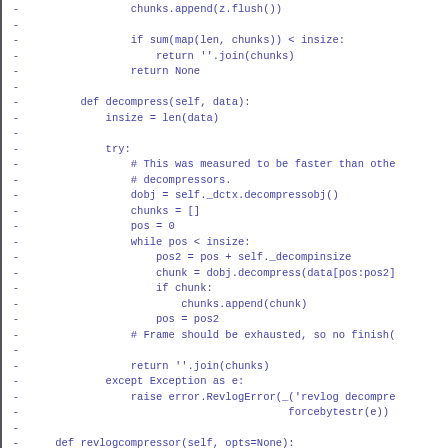[Figure (screenshot): Code diff snippet showing Python source code for a decompression class with methods decompress and revlogcompressor, displayed as removed lines (prefixed with '-') in blue/purple monospace font on white background.]